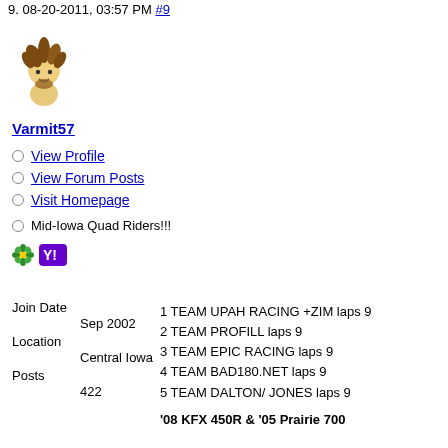9. 08-20-2011, 03:57 PM #9
[Figure (illustration): Forum user avatar — cartoon caveman character with messy brown hair]
Varmit57
View Profile
View Forum Posts
Visit Homepage
Mid-Iowa Quad Riders!!!
[Figure (illustration): Green flower icon and Yahoo! messenger icon]
Join Date
Sep 2002
Location
Central Iowa
Posts
422
1 TEAM UPAH RACING +ZIM laps 9
2 TEAM PROFILL laps 9
3 TEAM EPIC RACING laps 9
4 TEAM BAD180.NET laps 9
5 TEAM DALTON/ JONES laps 9
'08 KFX 450R & '05 Prairie 700